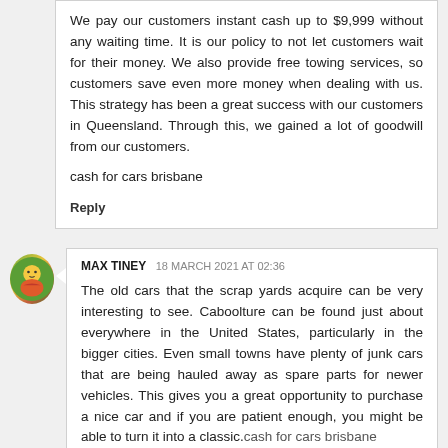We pay our customers instant cash up to $9,999 without any waiting time. It is our policy to not let customers wait for their money. We also provide free towing services, so customers save even more money when dealing with us. This strategy has been a great success with our customers in Queensland. Through this, we gained a lot of goodwill from our customers.
cash for cars brisbane
Reply
MAX TINEY 18 MARCH 2021 AT 02:36
The old cars that the scrap yards acquire can be very interesting to see. Caboolture can be found just about everywhere in the United States, particularly in the bigger cities. Even small towns have plenty of junk cars that are being hauled away as spare parts for newer vehicles. This gives you a great opportunity to purchase a nice car and if you are patient enough, you might be able to turn it into a classic.cash for cars brisbane
Reply